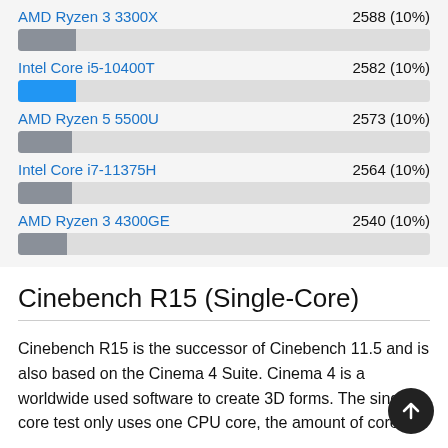[Figure (bar-chart): CPU Benchmark Comparison]
Cinebench R15 (Single-Core)
Cinebench R15 is the successor of Cinebench 11.5 and is also based on the Cinema 4 Suite. Cinema 4 is a worldwide used software to create 3D forms. The single core test only uses one CPU core, the amount of cores or